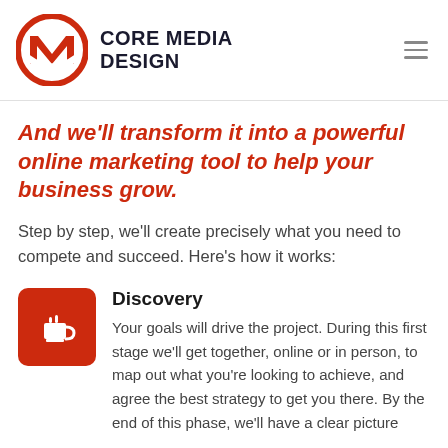Core Media Design
And we'll transform it into a powerful online marketing tool to help your business grow.
Step by step, we'll create precisely what you need to compete and succeed. Here's how it works:
Discovery
Your goals will drive the project. During this first stage we'll get together, online or in person, to map out what you're looking to achieve, and agree the best strategy to get you there. By the end of this phase, we'll have a clear picture of your business and the tone of your...